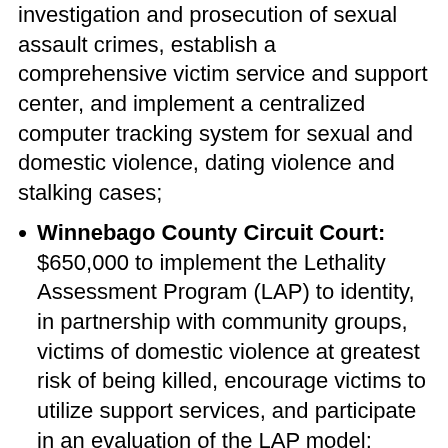investigation and prosecution of sexual assault crimes, establish a comprehensive victim service and support center, and implement a centralized computer tracking system for sexual and domestic violence, dating violence and stalking cases;
Winnebago County Circuit Court: $650,000 to implement the Lethality Assessment Program (LAP) to identity, in partnership with community groups, victims of domestic violence at greatest risk of being killed, encourage victims to utilize support services, and participate in an evaluation of the LAP model;
Southern Illinois University – Edwardsville: $300,000 to create the